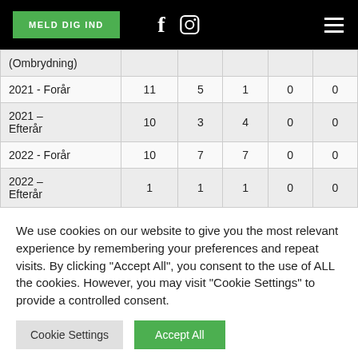MELD DIG IND | [Facebook icon] [Instagram icon] [Menu icon]
| (Ombrydning) |  |  |  |  |  |
| 2021 - Forår | 11 | 5 | 1 | 0 | 0 |
| 2021 – Efterår | 10 | 3 | 4 | 0 | 0 |
| 2022 - Forår | 10 | 7 | 7 | 0 | 0 |
| 2022 – Efterår | 1 | 1 | 1 | 0 | 0 |
We use cookies on our website to give you the most relevant experience by remembering your preferences and repeat visits. By clicking "Accept All", you consent to the use of ALL the cookies. However, you may visit "Cookie Settings" to provide a controlled consent.